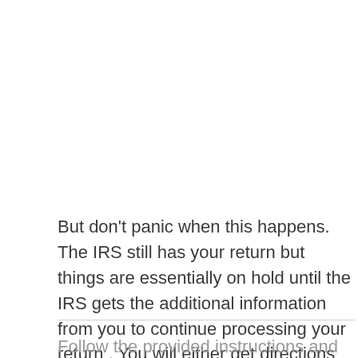But don't panic when this happens. The IRS still has your return but things are essentially on hold until the IRS gets the additional information from you to continue processing your return . You will either get directions on WMR or IRS2Go or the IRS will contact you by mail. See more in this video.
Follow the provided instructions and return any